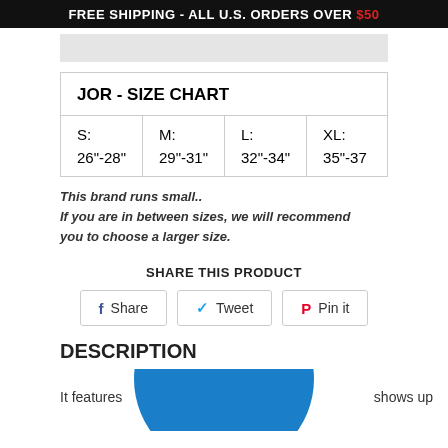FREE SHIPPING - ALL U.S. ORDERS OVER $50
| S:
26"-28" | M:
29"-31" | L:
32"-34" | XL:
35"-37 |
This brand runs small.
If you are in between sizes, we will recommend you to choose a larger size.
SHARE THIS PRODUCT
Share   Tweet   Pin it
DESCRIPTION
It features   WANT TO PLAY ?   shows up